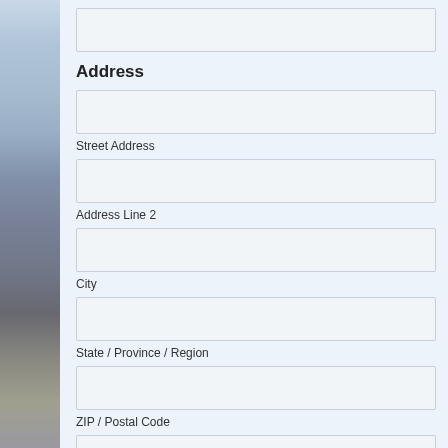Address
Street Address
Address Line 2
City
State / Province / Region
ZIP / Postal Code
Russia
Country